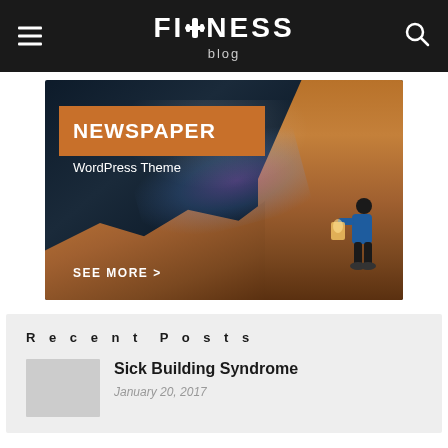FITNESS blog
[Figure (illustration): Advertisement banner for Newspaper WordPress Theme. Dark space/fantasy background with orange rock formations, a figure releasing light from a book, particles/stars. Text: NEWSPAPER, WordPress Theme, SEE MORE >]
Recent Posts
Sick Building Syndrome
January 20, 2017